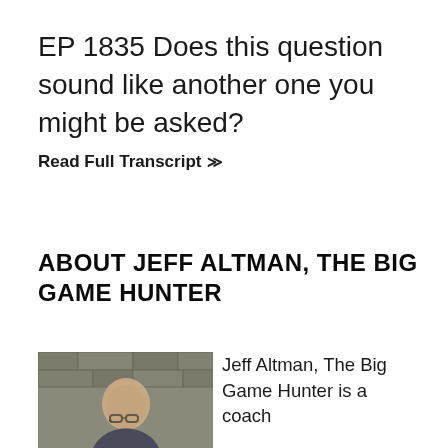EP 1835 Does this question sound like another one you might be asked?
Read Full Transcript ≫
ABOUT JEFF ALTMAN, THE BIG GAME HUNTER
[Figure (photo): Photo of Jeff Altman, The Big Game Hunter — bald man wearing glasses, stone wall background]
Jeff Altman, The Big Game Hunter is a coach